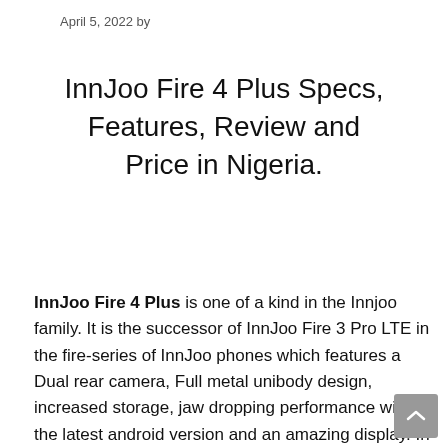April 5, 2022 by
InnJoo Fire 4 Plus Specs, Features, Review and Price in Nigeria.
InnJoo Fire 4 Plus is one of a kind in the Innjoo family. It is the successor of InnJoo Fire 3 Pro LTE in the fire-series of InnJoo phones which features a Dual rear camera, Full metal unibody design, increased storage, jaw dropping performance with the latest android version and an amazing display. In this post we'll look at Innjoo fire 4 plus full specs, my reviews, some of the key features and the possible expected price of this device.